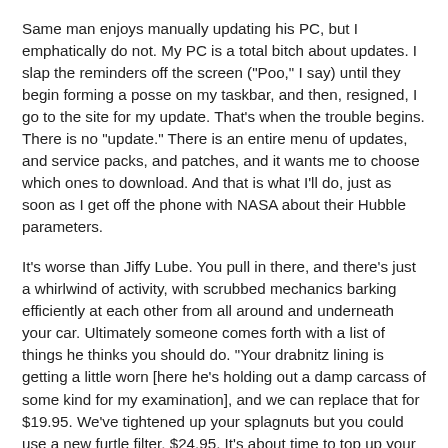Same man enjoys manually updating his PC, but I emphatically do not. My PC is a total bitch about updates. I slap the reminders off the screen ("Poo," I say) until they begin forming a posse on my taskbar, and then, resigned, I go to the site for my update. That's when the trouble begins. There is no "update." There is an entire menu of updates, and service packs, and patches, and it wants me to choose which ones to download. And that is what I'll do, just as soon as I get off the phone with NASA about their Hubble parameters.
It's worse than Jiffy Lube. You pull in there, and there's just a whirlwind of activity, with scrubbed mechanics barking efficiently at each other from all around and underneath your car. Ultimately someone comes forth with a list of things he thinks you should do. "Your drabnitz lining is getting a little worn [here he's holding out a damp carcass of some kind for my examination], and we can replace that for $19.95. We've tightened up your splagnuts but you could use a new furtle filter, $24.95. It's about time to top up your humours and rotate your radio buttons, and we're showing you're overdue for your ten-point farkling system inspection." This goes on